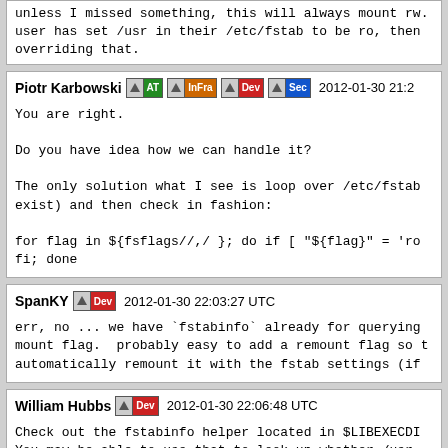unless I missed something, this will always mount rw. user has set /usr in their /etc/fstab to be ro, then overriding that.
Piotr Karbowski [AT][InFra][Dev][Sec] 2012-01-30 21:2
You are right.

Do you have idea how we can handle it?

The only solution what I see is loop over /etc/fstab exist) and then check in fashion:

for flag in ${fsflags//,/ }; do if [ "${flag}" = 'ro fi; done
SpanKY [Dev] 2012-01-30 22:03:27 UTC
err, no ... we have `fstabinfo` already for querying mount flag. probably easy to add a remount flag so t automatically remount it with the fstab settings (if
William Hubbs [Dev] 2012-01-30 22:06:48 UTC
Check out the fstabinfo helper located in $LIBEXECDI You may be able to use that to look up whether /usr in fstab.